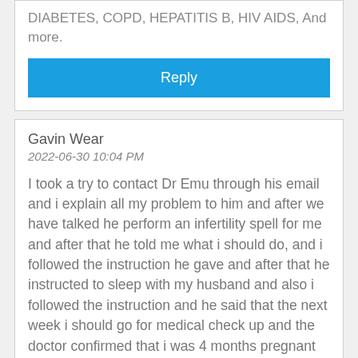DIABETES, COPD, HEPATITIS B, HIV AIDS, And more.
Reply
Gavin Wear
2022-06-30 10:04 PM
I took a try to contact Dr Emu through his email and i explain all my problem to him and after we have talked he perform an infertility spell for me and after that he told me what i should do, and i followed the instruction he gave and after that he instructed to sleep with my husband and also i followed the instruction and he said that the next week i should go for medical check up and the doctor confirmed that i was 4 months pregnant and i was so happy that all my sorrows were gone for ever, i